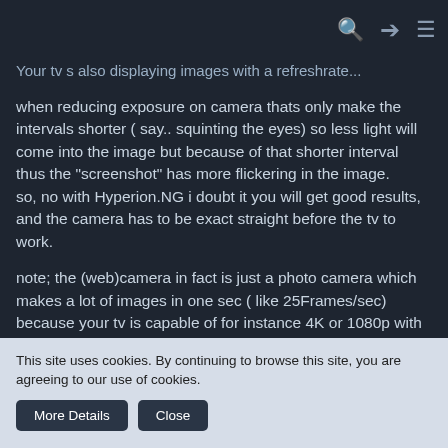Your tv s also displaying images with a refreshrate...
when reducing exposure on camera thats only make the intervals shorter ( say.. squinting the eyes) so less light will come into the image but because of that shorter interval thus the "screenshot" has more flickering in the image.
so, no with Hyperion.NG i doubt it you will get good results, and the camera has to be exact straight before the tv to work.
note; the (web)camera in fact is just a photo camera which makes a lot of images in one sec ( like 25Frames/sec) because your tv is capable of for instance 4K or 1080p with 50/60 Hertz those two will never synchronize.
its possible but then you need software with algoryhtm
This site uses cookies. By continuing to browse this site, you are agreeing to our use of cookies.